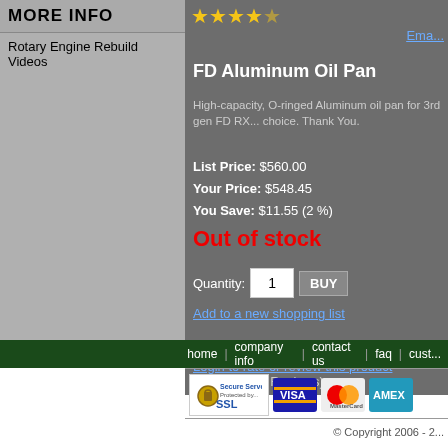MORE INFO
Rotary Engine Rebuild Videos
FD Aluminum Oil Pan
High-capacity, O-ringed Aluminum oil pan for 3rd gen FD RX... choice. Thank You.
List Price: $560.00
Your Price: $548.45
You Save: $11.55 (2 %)
Out of stock
Quantity: 1 BUY
Add to a new shopping list
Product Reviews
Login to rate or review this product
(3 Ratings, 0 Reviews)
home | company info | contact us | faq | cust...
[Figure (logo): Secure Server Protected by SSL badge, VISA logo, MasterCard logo, AMEX logo]
© Copyright 2006 - 2...